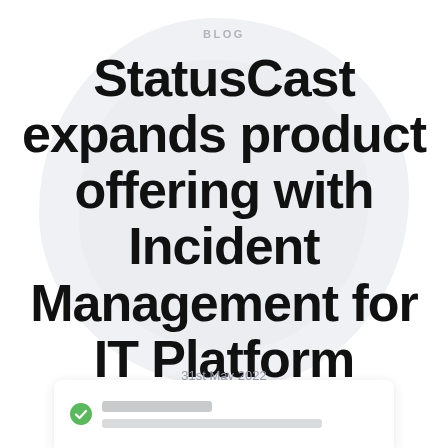BLOG
StatusCast expands product offering with Incident Management for IT Platform
31st May 2022
[Figure (screenshot): Partial screenshot of a UI element showing a green checkmark icon followed by two horizontal grey placeholder bars suggesting a status or incident management interface row.]